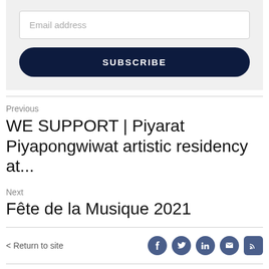[Figure (screenshot): Email subscription form with an email address input field and a dark navy SUBSCRIBE button]
Previous
WE SUPPORT | Piyarat Piyapongwiwat artistic residency at...
Next
Fête de la Musique 2021
< Return to site  [social icons: facebook, twitter, linkedin, email, rss]